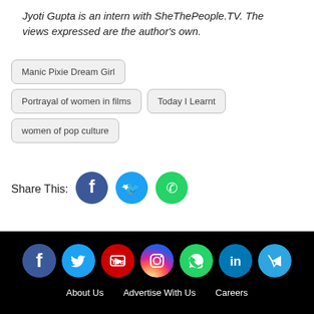Jyoti Gupta is an intern with SheThePeople.TV. The views expressed are the author's own.
Manic Pixie Dream Girl
Portrayal of women in films
Today I Learnt
women of pop culture
Share This:
[Figure (infographic): Social media share icons: Facebook, Twitter, WhatsApp]
[Figure (infographic): Footer social icons: Facebook, Twitter, YouTube, Instagram, WhatsApp, LinkedIn, Telegram]
About Us   Advertise With Us   Careers